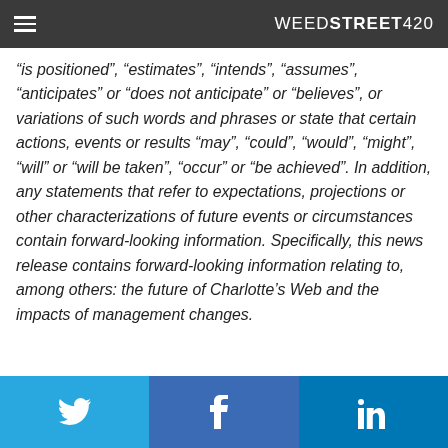WEEDSTREET420
“is positioned”, “estimates”, “intends”, “assumes”, “anticipates” or “does not anticipate” or “believes”, or variations of such words and phrases or state that certain actions, events or results “may”, “could”, “would”, “might”, “will” or “will be taken”, “occur” or “be achieved”. In addition, any statements that refer to expectations, projections or other characterizations of future events or circumstances contain forward-looking information. Specifically, this news release contains forward-looking information relating to, among others: the future of Charlotte’s Web and the impacts of management changes.
Twitter | Facebook | LinkedIn